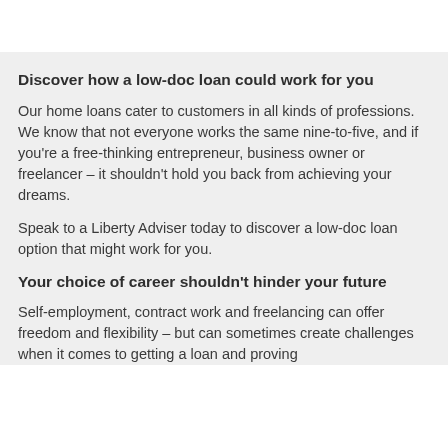Discover how a low-doc loan could work for you
Our home loans cater to customers in all kinds of professions. We know that not everyone works the same nine-to-five, and if you're a free-thinking entrepreneur, business owner or freelancer – it shouldn't hold you back from achieving your dreams.
Speak to a Liberty Adviser today to discover a low-doc loan option that might work for you.
Your choice of career shouldn't hinder your future
Self-employment, contract work and freelancing can offer freedom and flexibility – but can sometimes create challenges when it comes to getting a loan and proving